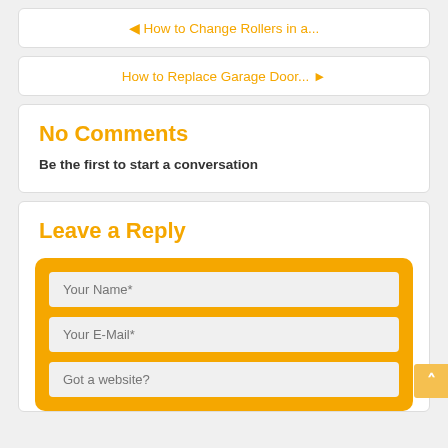◄ How to Change Rollers in a...
How to Replace Garage Door... ►
No Comments
Be the first to start a conversation
Leave a Reply
Your Name*
Your E-Mail*
Got a website?